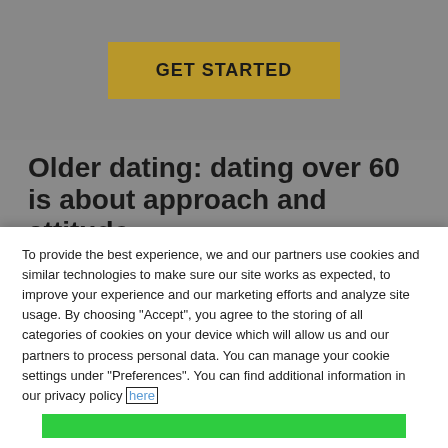[Figure (screenshot): GET STARTED button with golden/olive background color]
Older dating: dating over 60 is about approach and attitude
Life isn't always predictable, and sometimes you land in a position you never predicted. And if you find yourself single and in your sixties, you may be
To provide the best experience, we and our partners use cookies and similar technologies to make sure our site works as expected, to improve your experience and our marketing efforts and analyze site usage. By choosing "Accept", you agree to the storing of all categories of cookies on your device which will allow us and our partners to process personal data. You can manage your cookie settings under "Preferences". You can find additional information in our privacy policy here